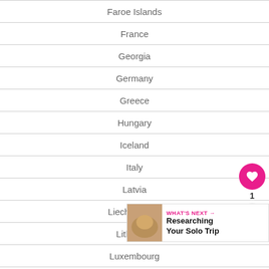Faroe Islands
France
Georgia
Germany
Greece
Hungary
Iceland
Italy
Latvia
Liechtenstein
Lithuania
Luxembourg
Macedonia
Moldova
Monaco
Montenegro
Northern Ireland